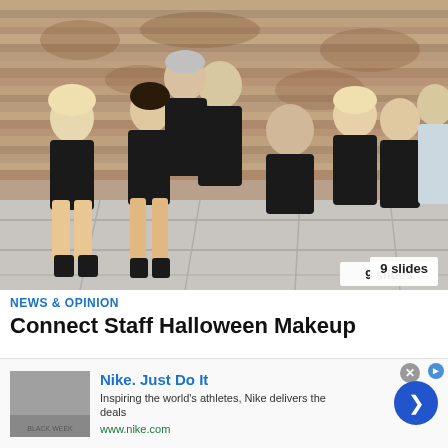[Figure (photo): Group photo of Connect staff dressed in Halloween zombie-style costumes with makeup, posing dramatically in front of a rusted corrugated metal wall. Eight people in black clothing with theatrical wounds and makeup.]
9 slides
NEWS & OPINION
Connect Staff Halloween Makeup
[Figure (screenshot): Nike advertisement overlay: 'Nike. Just Do It' with tagline 'Inspiring the world's athletes, Nike delivers the deals' and url www.nike.com. Includes a thumbnail image, close button, info icon, and blue arrow button.]